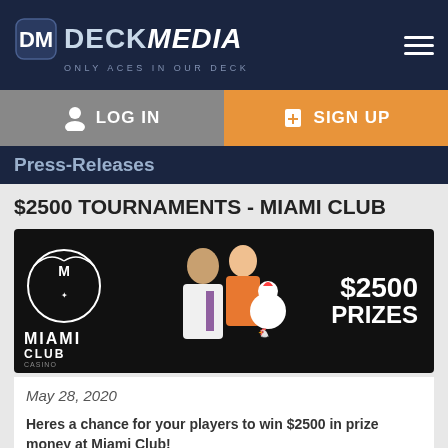DECK MEDIA — ONLY ACES IN OUR DECK
[Figure (logo): Deck Media logo with dice icon and tagline 'ONLY ACES IN OUR DECK']
LOG IN
SIGN UP
Press-Releases
$2500 TOURNAMENTS - MIAMI CLUB
[Figure (illustration): Miami Club Casino promotional banner showing cartoon characters and text '$2500 PRIZES' on black background]
May 28, 2020
Heres a chance for your players to win $2500 in prize money at Miami Club!
The $1500 Come Fly With Me Tournament starts today.
Game: Amazing 7s